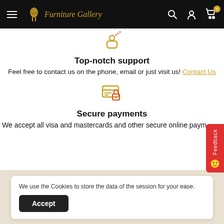Furniture Gallery — navigation header with hamburger menu, logo, search, account, and cart icons
[Figure (illustration): Orange support/person icon (user with signal lines)]
Top-notch support
Feel free to contact us on the phone, email or just visit us! Contact Us
[Figure (illustration): Orange secure payment icon (credit card with padlock)]
Secure payments
We accept all visa and mastercards and other secure online paym...
We use the Cookies to store the data of the session for your ease.